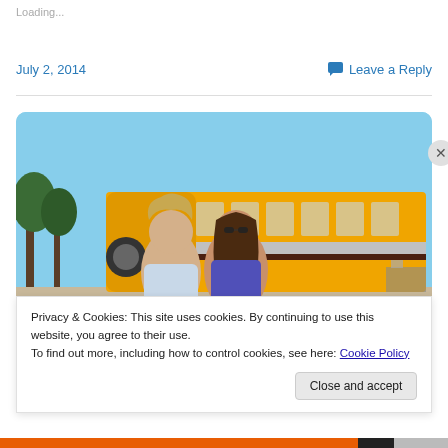Loading...
July 2, 2014
Leave a Reply
[Figure (photo): A couple standing in front of a large yellow school bus with windows and curtains. The man has long blond hair, the woman has long dark hair and sunglasses. Trees visible in the background under a blue sky.]
Privacy & Cookies: This site uses cookies. By continuing to use this website, you agree to their use.
To find out more, including how to control cookies, see here: Cookie Policy
Close and accept